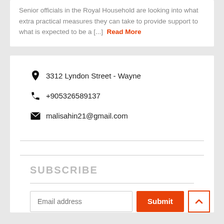Senior officials in the Royal Household are looking into what extra practical measures they can take to provide support to what is expected to be a [...] Read More
3312 Lyndon Street - Wayne
+905326589137
malisahin21@gmail.com
SUBSCRIBE
Email address
Submit